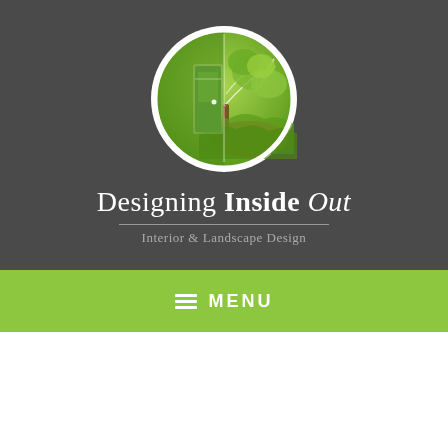[Figure (logo): Circular logo with green gradient background showing a door on the left half and a tree with foliage on the right half, outlined in white on a dark gray background]
Designing Inside Out
Interior & Landscape Design
≡ MENU